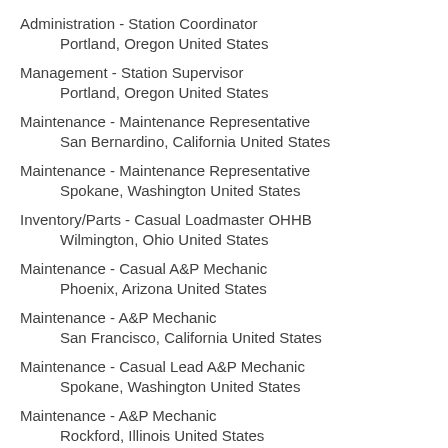Administration - Station Coordinator
    Portland, Oregon United States
Management - Station Supervisor
    Portland, Oregon United States
Maintenance - Maintenance Representative
    San Bernardino, California United States
Maintenance - Maintenance Representative
    Spokane, Washington United States
Inventory/Parts - Casual Loadmaster OHHB
    Wilmington, Ohio United States
Maintenance - Casual A&P Mechanic
    Phoenix, Arizona United States
Maintenance - A&P Mechanic
    San Francisco, California United States
Maintenance - Casual Lead A&P Mechanic
    Spokane, Washington United States
Maintenance - A&P Mechanic
    Rockford, Illinois United States
Management - Assistant Manager of Flight Standards
    Wilmington, Ohio United States